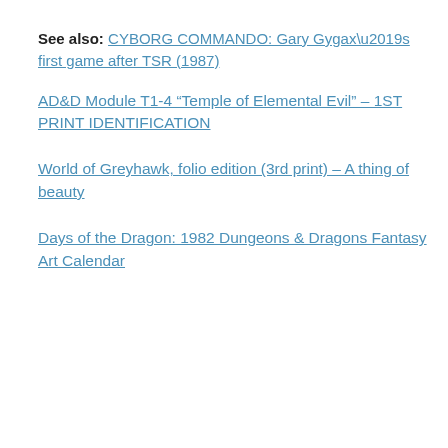See also: CYBORG COMMANDO: Gary Gygax’s first game after TSR (1987)
AD&D Module T1-4 “Temple of Elemental Evil” – 1ST PRINT IDENTIFICATION
World of Greyhawk, folio edition (3rd print) – A thing of beauty
Days of the Dragon: 1982 Dungeons & Dragons Fantasy Art Calendar